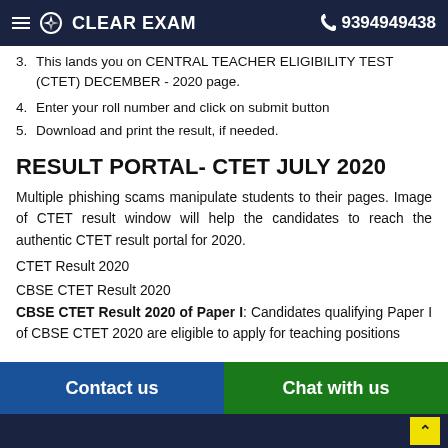CLEAR EXAM  9394949438
3. This lands you on CENTRAL TEACHER ELIGIBILITY TEST (CTET) DECEMBER - 2020 page.
4. Enter your roll number and click on submit button
5. Download and print the result, if needed.
RESULT PORTAL- CTET JULY 2020
Multiple phishing scams manipulate students to their pages. Image of CTET result window will help the candidates to reach the authentic CTET result portal for 2020.
CTET Result 2020
CBSE CTET Result 2020
CBSE CTET Result 2020 of Paper I: Candidates qualifying Paper I of CBSE CTET 2020 are eligible to apply for teaching positions
Contact us  |  Chat with us